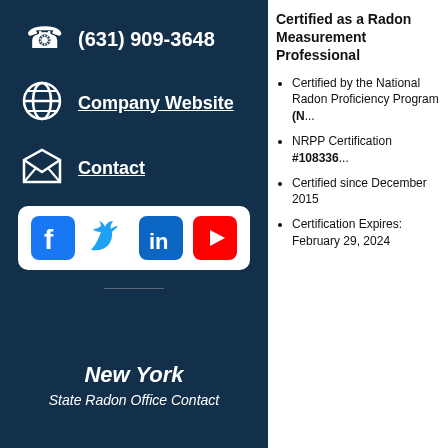(631) 909-3648
Company Website
Contact
[Figure (other): Social media icons bar: Facebook, Twitter, LinkedIn, YouTube]
New York
State Radon Office Contact
Certified as a Radon Measurement Professional
Certified by the National Radon Proficiency Program (N...
NRPP Certification #108336...
Certified since December 2015
Certification Expires: February 29, 2024